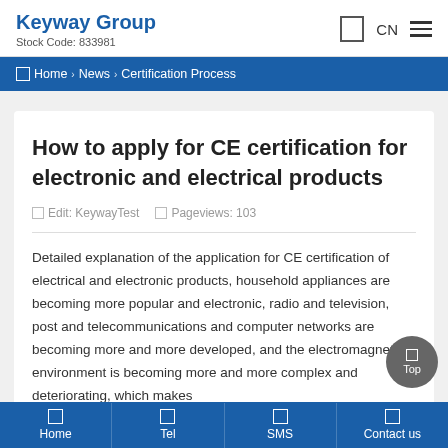Keyway Group | Stock Code: 833981 | CN
Home > News > Certification Process
How to apply for CE certification for electronic and electrical products
Edit: KeywayTest   Pageviews: 103
Detailed explanation of the application for CE certification of electrical and electronic products, household appliances are becoming more popular and electronic, radio and television, post and telecommunications and computer networks are becoming more and more developed, and the electromagnetic environment is becoming more and more complex and deteriorating, which makes
Home | Tel | SMS | Contact us